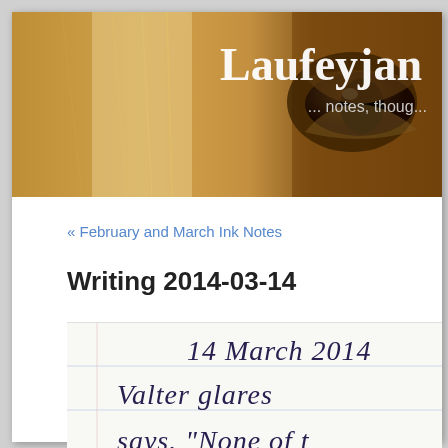[Figure (photo): Close-up photograph of a horse's eye and face with brown/golden fur, used as blog header banner. White text overlay reads 'Laufeyjan' with subtitle '... notes, thoug...']
« February and March Ink Notes
Writing 2014-03-14
[Figure (photo): Photograph of handwritten journal pages with lined paper showing handwritten text: '14 March 2014', 'Valter glares', 'says. "None of t']